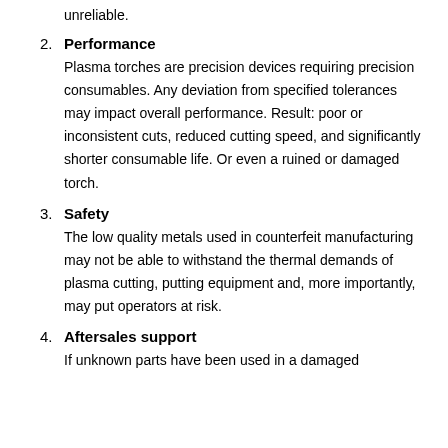unreliable.
2. Performance
Plasma torches are precision devices requiring precision consumables. Any deviation from specified tolerances may impact overall performance. Result: poor or inconsistent cuts, reduced cutting speed, and significantly shorter consumable life. Or even a ruined or damaged torch.
3. Safety
The low quality metals used in counterfeit manufacturing may not be able to withstand the thermal demands of plasma cutting, putting equipment and, more importantly, may put operators at risk.
4. Aftersales support
If unknown parts have been used in a damaged